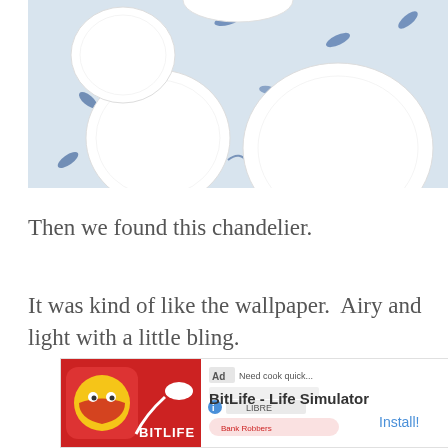[Figure (photo): Overhead photo of white ceramic plates arranged on a blue and white floral patterned tablecloth or fabric. Multiple round white plates of varying sizes are visible against the decorative blue floral background.]
Then we found this chandelier.
It was kind of like the wallpaper.  Airy and light with a little bling.
[Figure (screenshot): Advertisement banner for BitLife - Life Simulator app. Shows 'Ad' label, app icon with cartoon character on red background, and 'Install!' button on the right.]